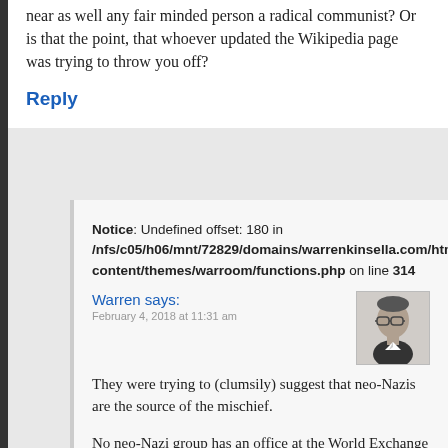near as well any fair minded person a radical communist? Or is that the point, that whoever updated the Wikipedia page was trying to throw you off?
Reply
Notice: Undefined offset: 180 in /nfs/c05/h06/mnt/72829/domains/warrenkinsella.com/html/wp-content/themes/warroom/functions.php on line 314
Warren says: February 4, 2018 at 11:31 am
They were trying to (clumsily) suggest that neo-Nazis are the source of the mischief.
No neo-Nazi group has an office at the World Exchange Plaza in